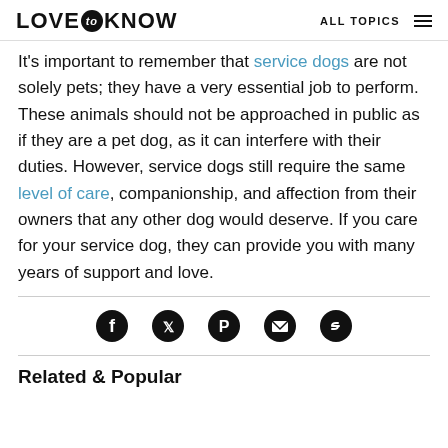LOVE to KNOW   ALL TOPICS
It's important to remember that service dogs are not solely pets; they have a very essential job to perform. These animals should not be approached in public as if they are a pet dog, as it can interfere with their duties. However, service dogs still require the same level of care, companionship, and affection from their owners that any other dog would deserve. If you care for your service dog, they can provide you with many years of support and love.
[Figure (infographic): Social share icons row: Facebook, Twitter, Pinterest, Email, Link]
Related & Popular